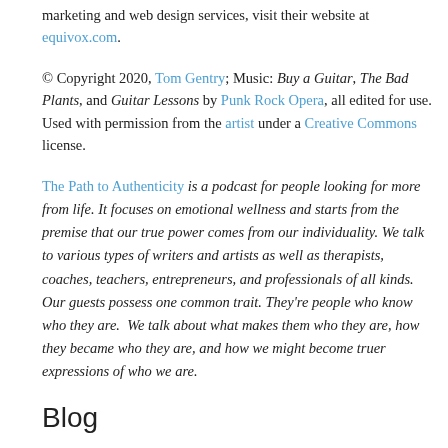marketing and web design services, visit their website at equivox.com.
© Copyright 2020, Tom Gentry; Music: Buy a Guitar, The Bad Plants, and Guitar Lessons by Punk Rock Opera, all edited for use. Used with permission from the artist under a Creative Commons license.
The Path to Authenticity is a podcast for people looking for more from life. It focuses on emotional wellness and starts from the premise that our true power comes from our individuality. We talk to various types of writers and artists as well as therapists, coaches, teachers, entrepreneurs, and professionals of all kinds. Our guests possess one common trait. They're people who know who they are. We talk about what makes them who they are, how they became who they are, and how we might become truer expressions of who we are.
Blog